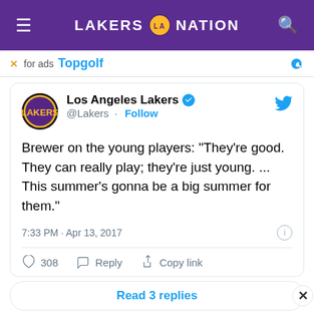LAKERS NATION
[Figure (screenshot): Advertisement banner showing Topgolf with Twitter bird icon]
[Figure (screenshot): Tweet from Los Angeles Lakers (@Lakers): Brewer on the young players: "They're good. They can really play; they're just young. ... This summer's gonna be a big summer for them." 7:33 PM · Apr 13, 2017. 308 likes. Reply. Copy link.]
Read 3 replies
[Figure (screenshot): Topgolf advertisement showing address 20356 Commonwealth Ce..., Topgolf logo, navigation icon, with services: Dine-in, Delivery]